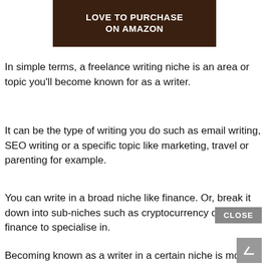[Figure (photo): Advertisement banner with text 'LOVE TO PURCHASE ON AMAZON' on a dark brown background with people holding items]
In simple terms, a freelance writing niche is an area or topic you'll become known for as a writer.
It can be the type of writing you do such as email writing, SEO writing or a specific topic like marketing, travel or parenting for example.
You can write in a broad niche like finance. Or, break it down into sub-niches such as cryptocurrency or personal finance to specialise in.
Becoming known as a writer in a certain niche is more